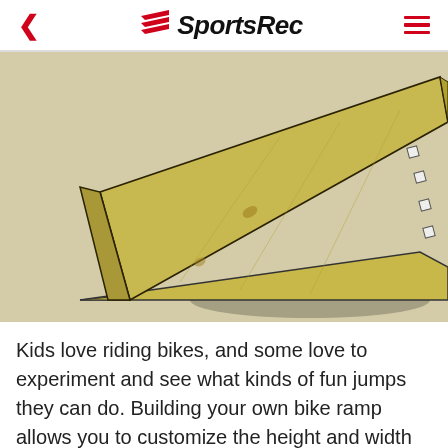SportsRec
[Figure (illustration): 3D rendered illustration of a wooden bike ramp/jump. The ramp is made of plywood with a triangular profile, shown from a perspective angle on a light beige/tan background. The wood grain is visible on the surface.]
Kids love riding bikes, and some love to experiment and see what kinds of fun jumps they can do. Building your own bike ramp allows you to customize the height and width of your ramp. It is also cost-efficient and doesn't take a lot of time.